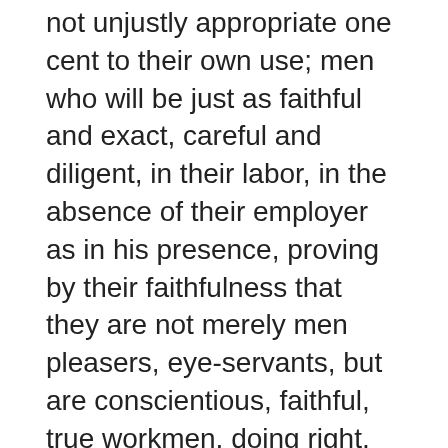not unjustly appropriate one cent to their own use; men who will be just as faithful and exact, careful and diligent, in their labor, in the absence of their employer as in his presence, proving by their faithfulness that they are not merely men pleasers, eye-servants, but are conscientious, faithful, true workmen, doing right, not for human praise, but because they love and choose the right from a high sense of their obligation to God.
Parents are not thorough in the education of their children. They do not see the necessity of molding their minds by discipline. They give them a superficial education, manifesting greater care for the ornamental than for that